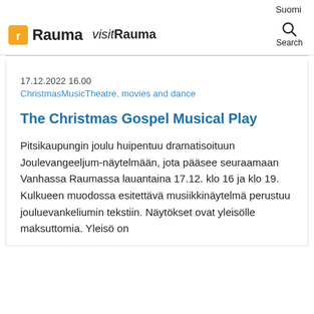Suomi
[Figure (logo): Rauma city logo with orange square icon and 'Rauma' text, plus 'visitRauma' italic text. Search icon with 'Search' label on the right.]
17.12.2022 16.00
ChristmasMusicTheatre, movies and dance
The Christmas Gospel Musical Play
Pitsikaupungin joulu huipentuu dramatisoituun Joulevangeeljum-näytelmään, jota pääsee seuraamaan Vanhassa Raumassa lauantaina 17.12. klo 16 ja klo 19. Kulkueen muodossa esitettävä musiikkinäytelmä perustuu jouluevankeliumin tekstiin. Näytökset ovat yleisölle maksuttomia. Yleisö on